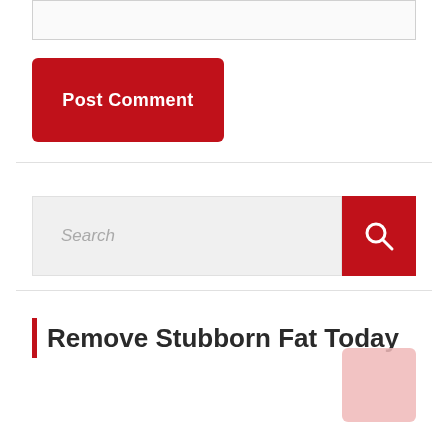[Figure (screenshot): Text input area / textarea at the top of the page]
[Figure (screenshot): Red 'Post Comment' button]
[Figure (screenshot): Search bar with text input field and red search icon button]
Remove Stubborn Fat Today
[Figure (other): Pink/light colored square element at bottom right]